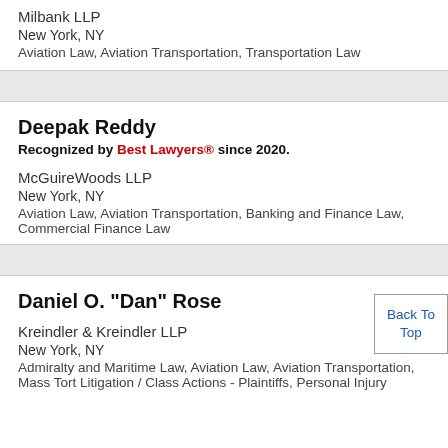Milbank LLP
New York, NY
Aviation Law, Aviation Transportation, Transportation Law
Deepak Reddy
Recognized by Best Lawyers® since 2020.
McGuireWoods LLP
New York, NY
Aviation Law, Aviation Transportation, Banking and Finance Law, Commercial Finance Law
Daniel O. "Dan" Rose
Kreindler & Kreindler LLP
New York, NY
Admiralty and Maritime Law, Aviation Law, Aviation Transportation, Mass Tort Litigation / Class Actions - Plaintiffs, Personal Injury